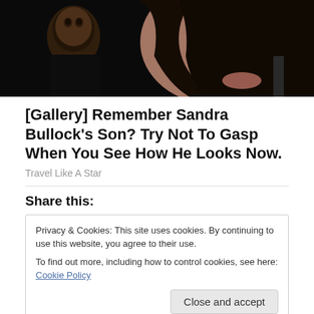[Figure (photo): Close-up photo of a woman with dark hair holding a young child in a dark outfit, both looking forward]
[Gallery] Remember Sandra Bullock's Son? Try Not To Gasp When You See How He Looks Now.
Travel Like A Star
Share this:
Privacy & Cookies: This site uses cookies. By continuing to use this website, you agree to their use.
To find out more, including how to control cookies, see here: Cookie Policy
Close and accept
Related